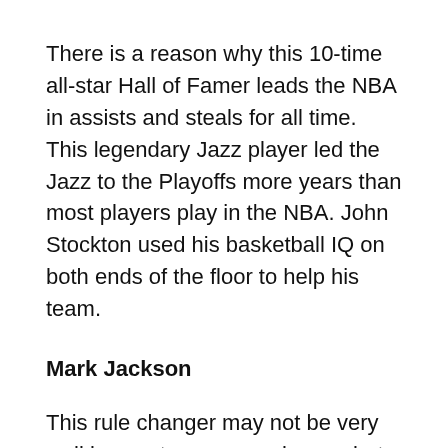There is a reason why this 10-time all-star Hall of Famer leads the NBA in assists and steals for all time. This legendary Jazz player led the Jazz to the Playoffs more years than most players play in the NBA. John Stockton used his basketball IQ on both ends of the floor to help his team.
Mark Jackson
This rule changer may not be very well known to younger players, but he is one of the smartest players to ever play in the NBA. He was a bright student of the game on both